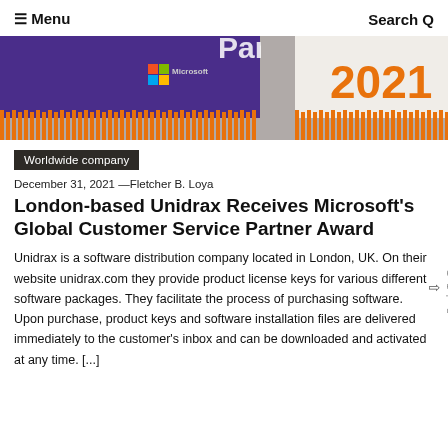≡ Menu   Search Q
[Figure (photo): Photo of Microsoft Partner 2021 award sashes in purple and white with orange fringe, showing Microsoft logo and '2021' text in orange.]
Worldwide company
December 31, 2021 —Fletcher B. Loya
London-based Unidrax Receives Microsoft's Global Customer Service Partner Award
Unidrax is a software distribution company located in London, UK. On their website unidrax.com they provide product license keys for various different software packages. They facilitate the process of purchasing software. Upon purchase, product keys and software installation files are delivered immediately to the customer's inbox and can be downloaded and activated at any time. [...]